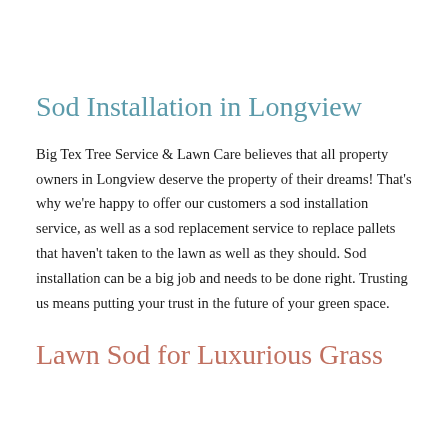Sod Installation in Longview
Big Tex Tree Service & Lawn Care believes that all property owners in Longview deserve the property of their dreams! That's why we're happy to offer our customers a sod installation service, as well as a sod replacement service to replace pallets that haven't taken to the lawn as well as they should. Sod installation can be a big job and needs to be done right. Trusting us means putting your trust in the future of your green space.
Lawn Sod for Luxurious Grass